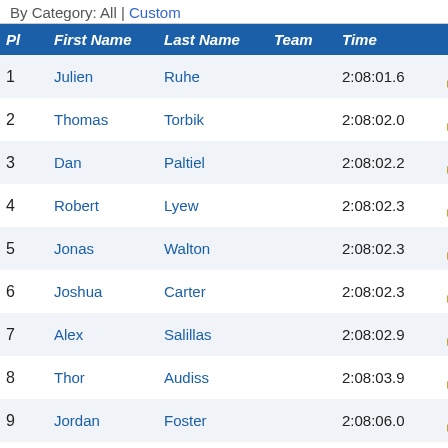By Category: All | Custom
| Pl | First Name | Last Name | Team | Time |  |
| --- | --- | --- | --- | --- | --- |
| 1 | Julien | Ruhe |  | 2:08:01.6 | 1 |
| 2 | Thomas | Torbik |  | 2:08:02.0 | 2 |
| 3 | Dan | Paltiel |  | 2:08:02.2 | 3 |
| 4 | Robert | Lyew |  | 2:08:02.3 | 4 |
| 5 | Jonas | Walton |  | 2:08:02.3 | 5 |
| 6 | Joshua | Carter |  | 2:08:02.3 | 6 |
| 7 | Alex | Salillas |  | 2:08:02.9 | 7 |
| 8 | Thor | Audiss |  | 2:08:03.9 | 8 |
| 9 | Jordan | Foster |  | 2:08:06.0 | 9 |
| 10 | Joshua | Marshall |  | 2:08:06.6 | 10 |
| 11 | Rob | Sorrell |  | 2:08:07.0 | 11 |
| 12 | Zac | Threatt |  | 2:08:07.4 | 12 |
| 13 | Alden | Weinhold |  | 2:08:09.9 | 13 |